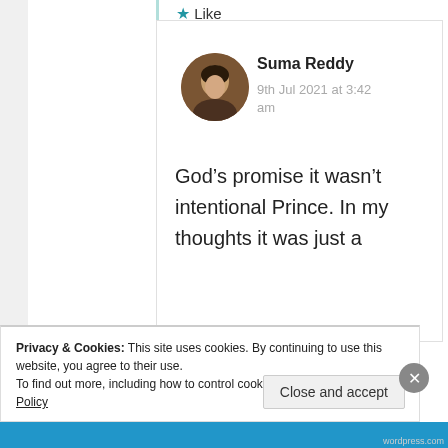Like
Suma Reddy
9th Jul 2021 at 3:42 am
God’s promise it wasn’t intentional Prince. In my thoughts it was just a
Privacy & Cookies: This site uses cookies. By continuing to use this website, you agree to their use.
To find out more, including how to control cookies, see here: Cookie Policy
Close and accept